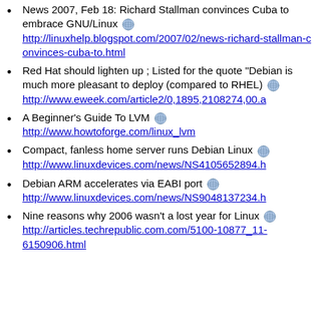News 2007, Feb 18: Richard Stallman convinces Cuba to embrace GNU/Linux 🌐 http://linuxhelp.blogspot.com/2007/02/news-richard-stallman-convinces-cuba-to.html
Red Hat should lighten up ; Listed for the quote "Debian is much more pleasant to deploy (compared to RHEL) 🌐 http://www.eweek.com/article2/0,1895,2108274,00.a
A Beginner's Guide To LVM 🌐 http://www.howtoforge.com/linux_lvm
Compact, fanless home server runs Debian Linux 🌐 http://www.linuxdevices.com/news/NS4105652894.h
Debian ARM accelerates via EABI port 🌐 http://www.linuxdevices.com/news/NS9048137234.h
Nine reasons why 2006 wasn't a lost year for Linux 🌐 http://articles.techrepublic.com.com/5100-10877_11-6150906.html